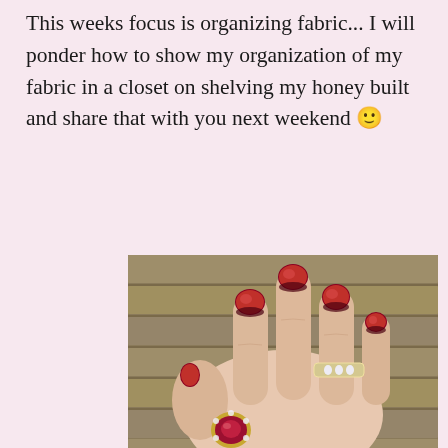This weeks focus is organizing fabric... I will ponder how to show my organization of my fabric in a closet on shelving my honey built and share that with you next weekend 🙂
[Figure (photo): A close-up photo of a woman's hand with red glittery nail polish, wearing a diamond wedding band and a ruby cocktail ring with diamonds, resting on a wooden deck surface.]